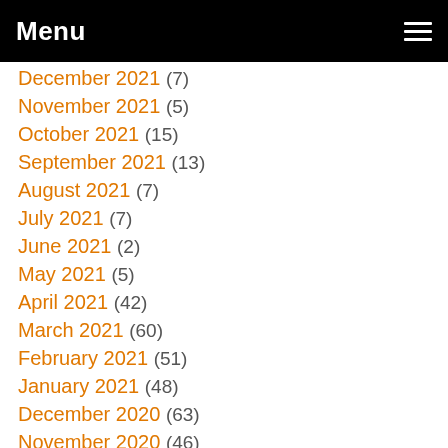Menu
December 2021 (7)
November 2021 (5)
October 2021 (15)
September 2021 (13)
August 2021 (7)
July 2021 (7)
June 2021 (2)
May 2021 (5)
April 2021 (42)
March 2021 (60)
February 2021 (51)
January 2021 (48)
December 2020 (63)
November 2020 (46)
October 2020 (39)